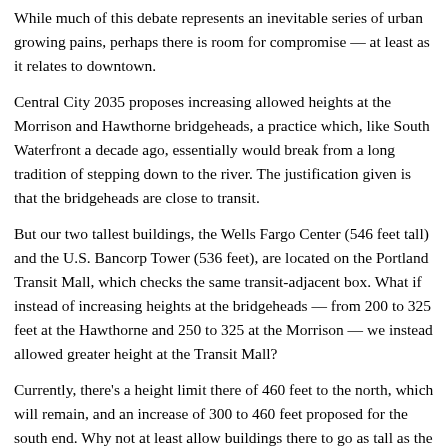While much of this debate represents an inevitable series of urban growing pains, perhaps there is room for compromise — at least as it relates to downtown.
Central City 2035 proposes increasing allowed heights at the Morrison and Hawthorne bridgeheads, a practice which, like South Waterfront a decade ago, essentially would break from a long tradition of stepping down to the river. The justification given is that the bridgeheads are close to transit.
But our two tallest buildings, the Wells Fargo Center (546 feet tall) and the U.S. Bancorp Tower (536 feet), are located on the Portland Transit Mall, which checks the same transit-adjacent box. What if instead of increasing heights at the bridgeheads — from 200 to 325 feet at the Hawthorne and 250 to 325 at the Morrison — we instead allowed greater height at the Transit Mall?
Currently, there's a height limit there of 460 feet to the north, which will remain, and an increase of 300 to 460 feet proposed for the south end. Why not at least allow buildings there to go as tall as the Wells Fargo and Big Pink already have? Why not even allow something a little bit